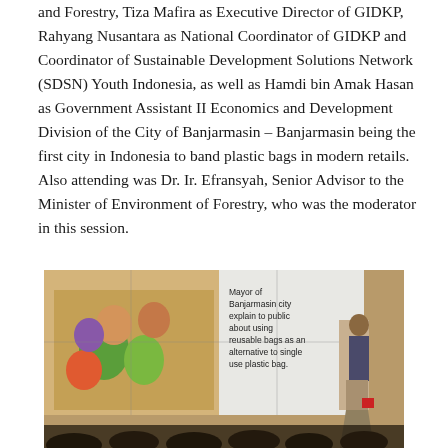and Forestry, Tiza Mafira as Executive Director of GIDKP, Rahyang Nusantara as National Coordinator of GIDKP and Coordinator of Sustainable Development Solutions Network (SDSN) Youth Indonesia, as well as Hamdi bin Amak Hasan as Government Assistant II Economics and Development Division of the City of Banjarmasin – Banjarmasin being the first city in Indonesia to band plastic bags in modern retails. Also attending was Dr. Ir. Efransyah, Senior Advisor to the Minister of Environment of Forestry, who was the moderator in this session.
[Figure (photo): A speaker standing at a podium in front of a large projection screen showing an image of people with reusable bags and text reading 'Mayor of Banjarmasin city explain to public about using reusable bags as an alternative to single use plastic bag.' Audience members are visible in the foreground.]